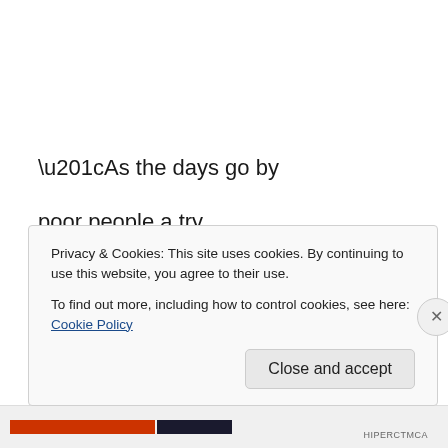“As the days go by
poor people a try
nuff a dem not get by
nuff a dem not rectify
political affiliations
Privacy & Cookies: This site uses cookies. By continuing to use this website, you agree to their use.
To find out more, including how to control cookies, see here: Cookie Policy
Close and accept